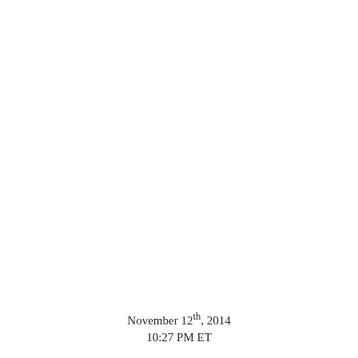November 12th, 2014
10:27 PM ET